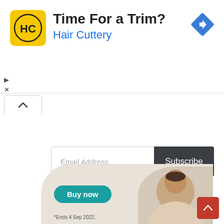[Figure (advertisement): Hair Cuttery ad banner with yellow HC logo, title 'Time For a Trim?', subtitle 'Hair Cuttery', blue diamond navigation icon top right, play and close controls bottom left]
[Figure (other): Collapse/minimize button with upward chevron]
Email Address
Subscribe
[Figure (advertisement): Ancestry DNA ad showing Ancestry logo, text 'Save $40* on AncestryDNA® for a limited time.', Buy now button, person photo, footnote '*Ends 4 Sep 2022.']
[Figure (other): Red scroll-to-top button with upward chevron]